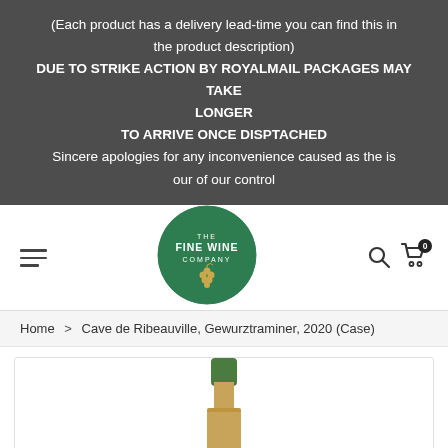(Each product has a delivery lead-time you can find this in the product description) DUE TO STRIKE ACTION BY ROYALMAIL PACKAGES MAY TAKE LONGER TO ARRIVE ONCE DISPTACHED Sincere apologies for any inconvenience caused as the is our of our control
[Figure (logo): The Fine Wine Company circular logo in green with grape illustration]
Home > Cave de Ribeauville, Gewurztraminer, 2020 (Case)
[Figure (photo): Wine bottle top portion showing green foil capsule and bottle neck]